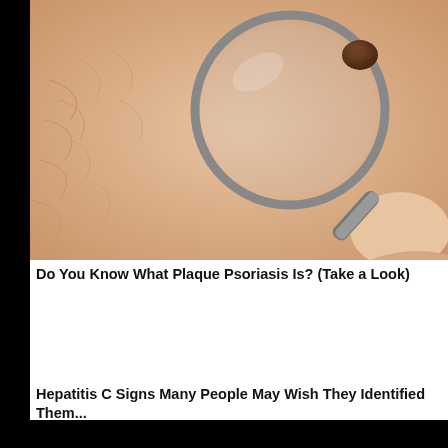[Figure (photo): Close-up photo of skin being examined with a magnifying glass or dermatoscope, showing a mole or skin lesion on what appears to be a person's face or neck area. The skin shows wrinkles and texture typical of dermoscopy examination.]
Do You Know What Plaque Psoriasis Is? (Take a Look)
Hepatitis C Signs Many People May Wish They Identified Them...